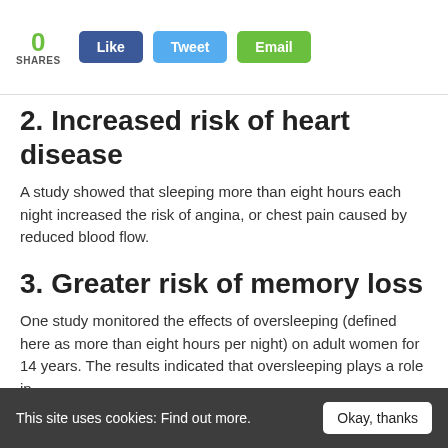0 SHARES | Like | Tweet | Email
2. Increased risk of heart disease
A study showed that sleeping more than eight hours each night increased the risk of angina, or chest pain caused by reduced blood flow.
3. Greater risk of memory loss
One study monitored the effects of oversleeping (defined here as more than eight hours per night) on adult women for 14 years. The results indicated that oversleeping plays a role in
This site uses cookies: Find out more.  Okay, thanks